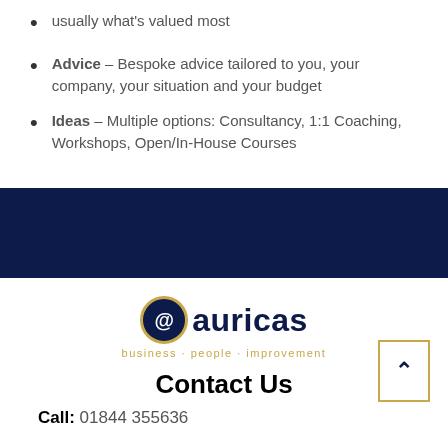usually what's valued most
Advice – Bespoke advice tailored to you, your company, your situation and your budget
Ideas – Multiple options: Consultancy, 1:1 Coaching, Workshops, Open/In-House Courses
[Figure (logo): Auricas logo with @ symbol in dark navy circle with gold border, text 'auricas' in dark navy, tagline 'business · people · improvement' in gold]
Contact Us
Call: 01844 355636